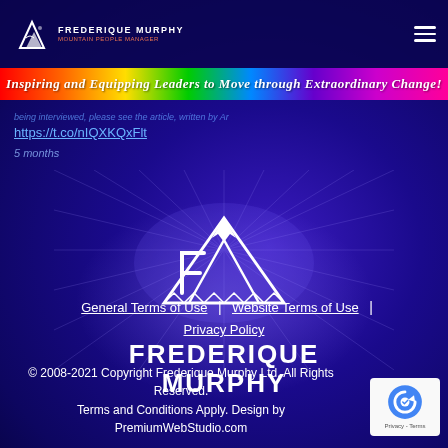Frederique Murphy | Mountain People Manager
Inspiring and Equipping Leaders to Move through Extraordinary Change!
https://t.co/nIQXKQxFlt
5 months
[Figure (logo): Frederique Murphy logo with mountain icon and text 'Frederique Murphy']
General Terms of Use | Website Terms of Use | Privacy Policy
© 2008-2021 Copyright Frederique Murphy Ltd. All Rights Reserved.
Terms and Conditions Apply. Design by PremiumWebStudio.com